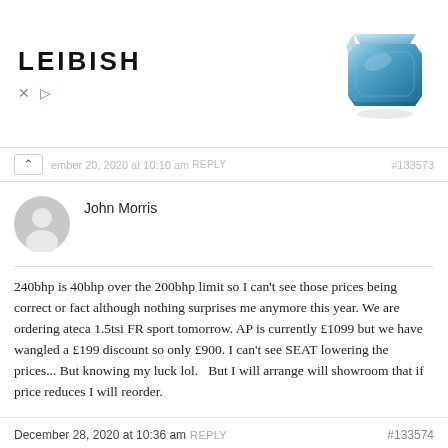[Figure (logo): Leibish jewelry advertisement banner with a blue gemstone and LEIBISH branding]
...ember 20, 2020 at 10:10 am REPLY #133573
John Morris
240bhp is 40bhp over the 200bhp limit so I can't see those prices being correct or fact although nothing surprises me anymore this year. We are ordering ateca 1.5tsi FR sport tomorrow. AP is currently £1099 but we have wangled a £199 discount so only £900. I can't see SEAT lowering the prices... But knowing my luck lol.   But I will arrange will showroom that if price reduces I will reorder.
December 28, 2020 at 10:36 am REPLY #133574
Markymate